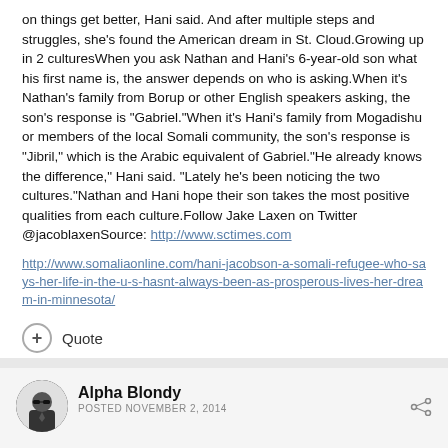on things get better. Hani said. And after multiple steps and struggles, she's found the American dream in St. Cloud.Growing up in 2 culturesWhen you ask Nathan and Hani's 6-year-old son what his first name is, the answer depends on who is asking.When it's Nathan's family from Borup or other English speakers asking, the son's response is "Gabriel."When it's Hani's family from Mogadishu or members of the local Somali community, the son's response is "Jibril," which is the Arabic equivalent of Gabriel."He already knows the difference," Hani said. "Lately he's been noticing the two cultures."Nathan and Hani hope their son takes the most positive qualities from each culture.Follow Jake Laxen on Twitter @jacoblaxenSource: http://www.sctimes.com
http://www.somaliaonline.com/hani-jacobson-a-somali-refugee-who-says-her-life-in-the-u-s-hasnt-always-been-as-prosperous-lives-her-dream-in-minnesota/
+ Quote
Alpha Blondy
POSTED NOVEMBER 2, 2014